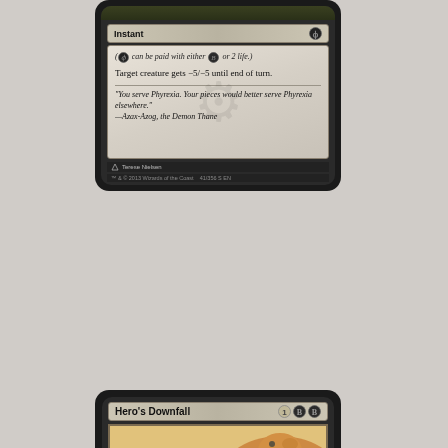[Figure (illustration): Top portion of a Magic: The Gathering card showing the text box of an Instant card. Phyrexian mana symbol in type bar. Reminder text in italics: '(Phyrexian black can be paid with either black mana or 2 life.)'. Rule text: 'Target creature gets -5/-5 until end of turn.' Flavor text: 'You serve Phyrexia. Your pieces would better serve Phyrexia elsewhere.' —Azax-Azog, the Demon Thane. Artist credit: Terese Nielsen.]
[Figure (illustration): Full Magic: The Gathering card 'Hero's Downfall'. Mana cost: 1 black black. Type: Instant. Art shows a large bird of prey (griffin or eagle) clutching a fallen warrior/hero on sandy ground. Rule text: 'Destroy target creature or planeswalker.' Flavor text in italics: 'Destiny exalts a chosen few, but even heroes break.']